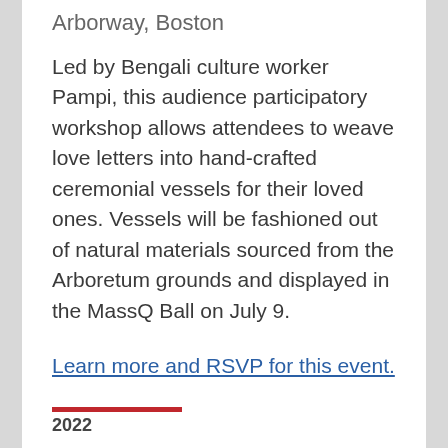Arborway, Boston
Led by Bengali culture worker Pampi, this audience participatory workshop allows attendees to weave love letters into hand-crafted ceremonial vessels for their loved ones. Vessels will be fashioned out of natural materials sourced from the Arboretum grounds and displayed in the MassQ Ball on July 9.
Learn more and RSVP for this event.
2022